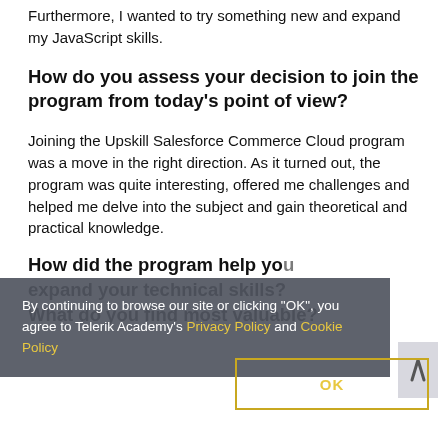Furthermore, I wanted to try something new and expand my JavaScript skills.
How do you assess your decision to join the program from today's point of view?
Joining the Upskill Salesforce Commerce Cloud program was a move in the right direction. As it turned out, the program was quite interesting, offered me challenges and helped me delve into the subject and gain theoretical and practical knowledge.
How did the program help you expand your technical skills? What do you find most valuable?
By continuing to browse our site or clicking "OK", you agree to Telerik Academy's Privacy Policy and Cookie Policy